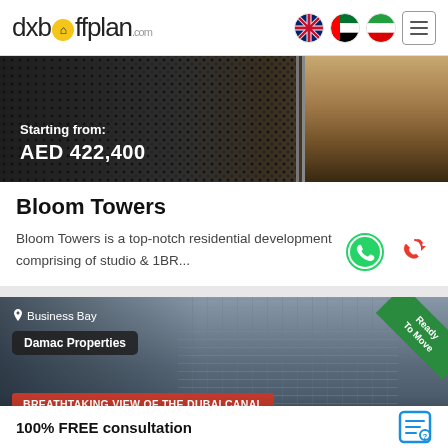dxboffplan.com
[Figure (photo): Bloom Towers property listing image showing textured dark background with price overlay reading 'Starting from: AED 422,400']
Bloom Towers
Bloom Towers is a top-notch residential development comprising of studio & 1BR...
[Figure (photo): Damac Properties listing image showing Business Bay location, building exterior with Dubai Canal view, Ready To Move badge, and 'BREATHTAKING VIEW OF THE DUBAI CANAL' label]
100% FREE consultation